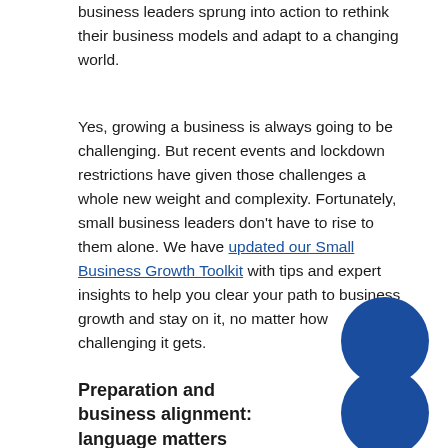business leaders sprung into action to rethink their business models and adapt to a changing world.
Yes, growing a business is always going to be challenging. But recent events and lockdown restrictions have given those challenges a whole new weight and complexity. Fortunately, small business leaders don’t have to rise to them alone. We have updated our Small Business Growth Toolkit with tips and expert insights to help you clear your path to business growth and stay on it, no matter how challenging it gets.
[Figure (illustration): Dark blue filled circle, decorative element positioned to the right of the text block]
Preparation and business alignment: language matters
[Figure (illustration): Dark blue filled circle, decorative element positioned to the right of the section header]